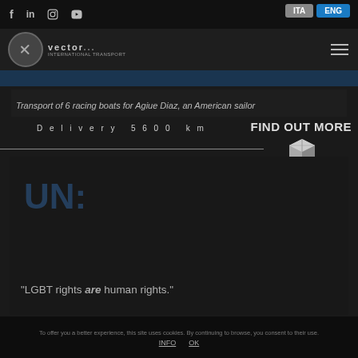f  in  (instagram)  (youtube)    ITA  ENG
[Figure (logo): Vector company logo with circle emblem and text]
Transport of 6 racing boats for Agiue Diaz, an American sailor
Delivery 5600 km
FIND OUT MORE
[Figure (illustration): White 3D box/package icon]
[Figure (photo): Dark background section with UN logo and LGBT rights quote: UN: "LGBT rights are human rights."]
To offer you a better experience, this site uses cookies. By continuing to browse, you consent to their use.  INFO  OK